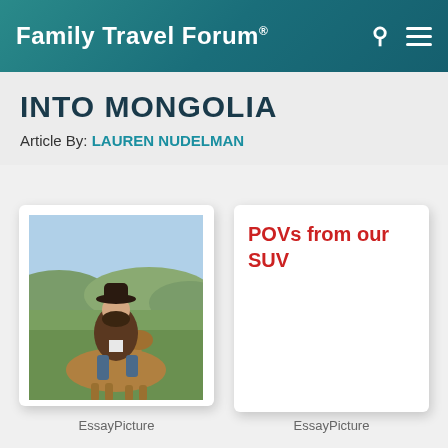Family Travel Forum®
INTO MONGOLIA
Article By: LAUREN NUDELMAN
[Figure (photo): Woman in a cowboy hat and fur coat riding a horse on Mongolian grasslands with green hills in the background]
EssayPicture
[Figure (other): White card with red handwritten-style text reading 'POVs from our SUV']
EssayPicture